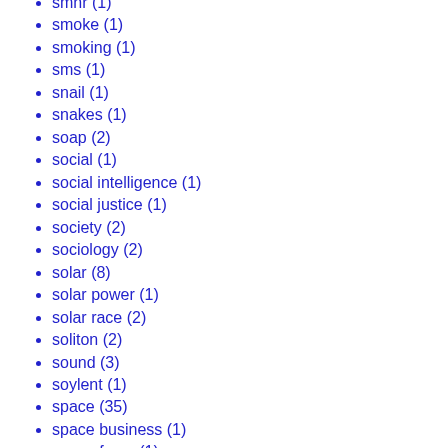smnr (1)
smoke (1)
smoking (1)
sms (1)
snail (1)
snakes (1)
soap (2)
social (1)
social intelligence (1)
social justice (1)
society (2)
sociology (2)
solar (8)
solar power (1)
solar race (2)
soliton (2)
sound (3)
soylent (1)
space (35)
space business (1)
space force (1)
space junk (1)
space lasers (1)
space law (2)
space sox (1)